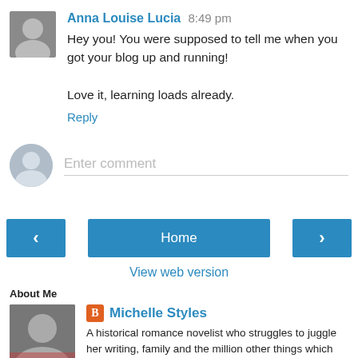Anna Louise Lucia 8:49 pm
Hey you! You were supposed to tell me when you got your blog up and running!

Love it, learning loads already.
Reply
Enter comment
Home
View web version
About Me
Michelle Styles
A historical romance novelist who struggles to juggle her writing, family and the million other things which need to